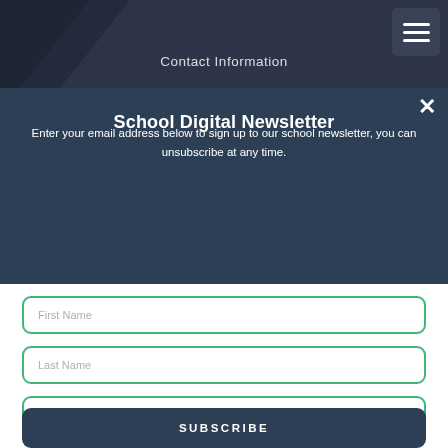Contact Information
School Digital Newsletter
Enter your email address below to sign up to our school newsletter, you can unsubscribe at any time.
First Name
Last Name
Email
SUBSCRIBE